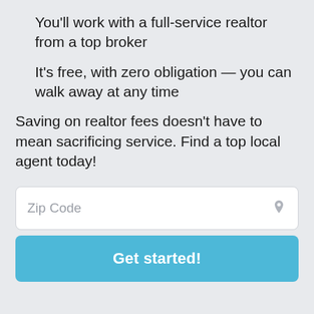You'll work with a full-service realtor from a top broker
It's free, with zero obligation — you can walk away at any time
Saving on realtor fees doesn't have to mean sacrificing service. Find a top local agent today!
Zip Code
Get started!